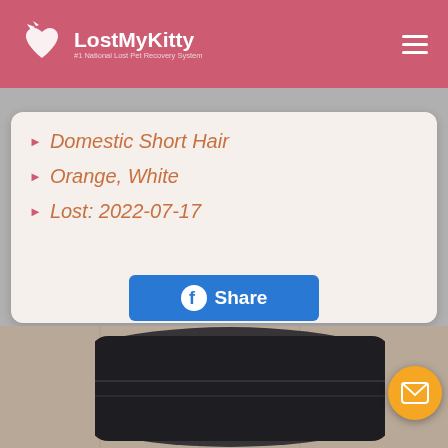LostMyKitty — #1 National Lost Pet Recovery System
Domestic Short Hair
Orange, White
Lost: 2022-07-17
[Figure (screenshot): Share button (Facebook blue) and VIEW DETAILS button (teal/green rounded) with pink shadow circle on the left side]
[Figure (photo): Partial photo of a cat carrier or bag on a tiled floor at bottom of page]
[Figure (other): Orange circular mail/envelope FAB button in bottom right corner]